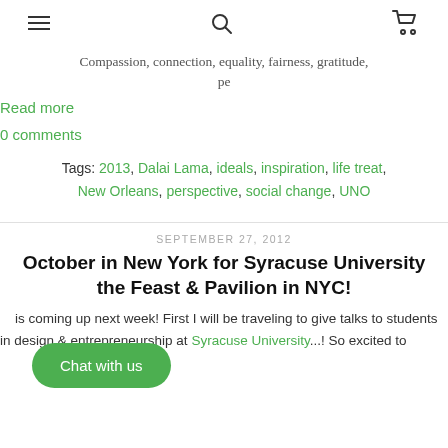[hamburger menu] [search icon] [cart icon]
Compassion, connection, equality, fairness, gratitude, pe
Read more
0 comments
Tags: 2013, Dalai Lama, ideals, inspiration, life treat, New Orleans, perspective, social change, UNO
SEPTEMBER 27, 2012
October in New York for Syracuse University the Feast & Pavilion in NYC!
is coming up next week! First I will be traveling to give talks to students in design & entrepreneurship at Syracuse University...! So excited to
Chat with us